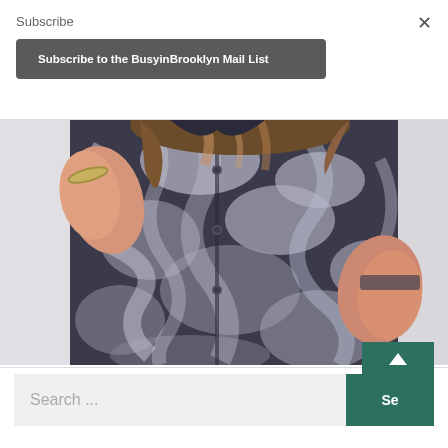Subscribe
Subscribe to the BusyinBrooklyn Mail List
×
[Figure (photo): Person wearing a tie-dye black and white flannel shirt, with brown hair and a bracelet, leaning against a light wall. Only torso and arms visible.]
Search ...
Se